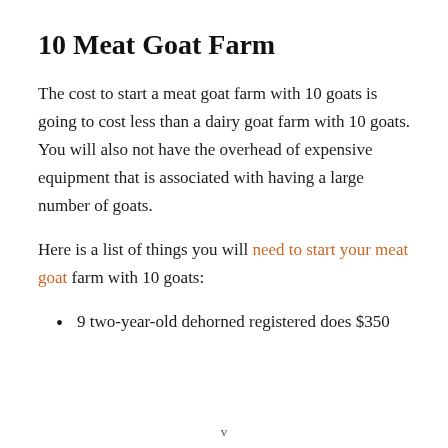10 Meat Goat Farm
The cost to start a meat goat farm with 10 goats is going to cost less than a dairy goat farm with 10 goats.  You will also not have the overhead of expensive equipment that is associated with having a large number of goats.
Here is a list of things you will need to start your meat goat farm with 10 goats:
9 two-year-old dehorned registered does $350
v